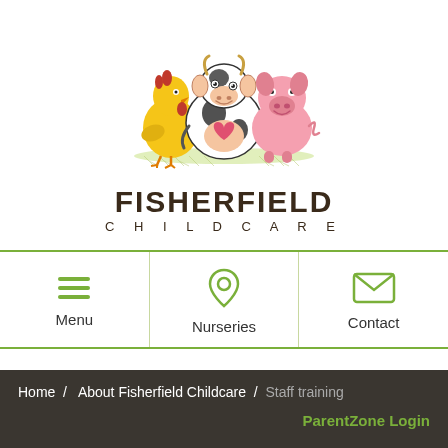[Figure (logo): Fisherfield Childcare logo with cartoon farm animals: a yellow chicken, a black and white cow with a heart, and a pink pig, standing on green grass]
FISHERFIELD CHILDCARE
[Figure (other): Navigation bar with three items: Menu (hamburger icon), Nurseries (location pin icon), Contact (envelope icon)]
Home / About Fisherfield Childcare / Staff training  ParentZone Login